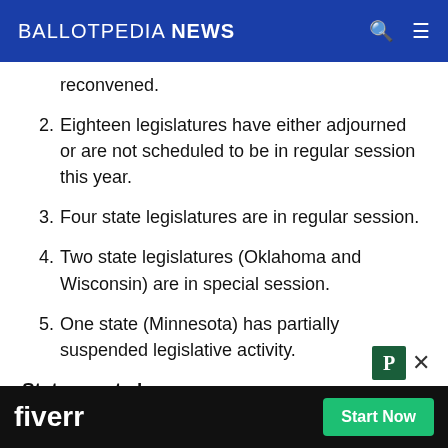BALLOTPEDIA NEWS
reconvened.
2. Eighteen legislatures have either adjourned or are not scheduled to be in regular session this year.
3. Four state legislatures are in regular session.
4. Two state legislatures (Oklahoma and Wisconsin) are in special session.
5. One state (Minnesota) has partially suspended legislative activity.
State court changes
Read
coronavirus (COVID-19) pandemic, 2020